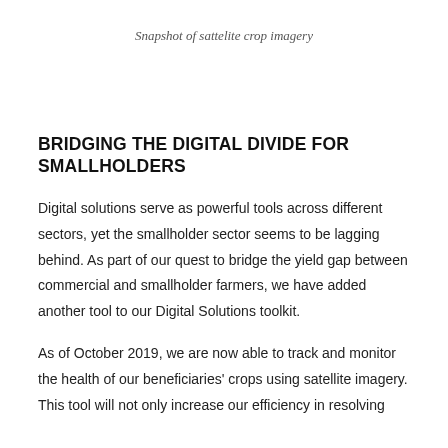Snapshot of sattelite crop imagery
BRIDGING THE DIGITAL DIVIDE FOR SMALLHOLDERS
Digital solutions serve as powerful tools across different sectors, yet the smallholder sector seems to be lagging behind. As part of our quest to bridge the yield gap between commercial and smallholder farmers, we have added another tool to our Digital Solutions toolkit.
As of October 2019, we are now able to track and monitor the health of our beneficiaries' crops using satellite imagery. This tool will not only increase our efficiency in resolving